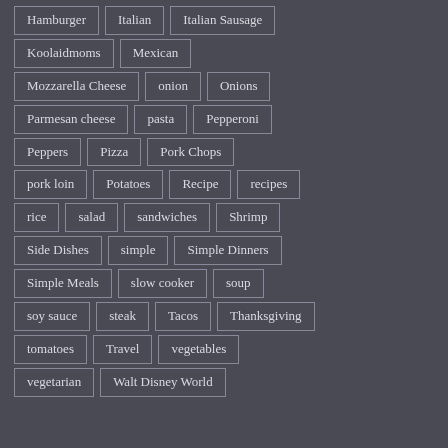Hamburger
Italian
Italian Sausage
Koolaidmoms
Mexican
Mozzarella Cheese
onion
Onions
Parmesan cheese
pasta
Pepperoni
Peppers
Pizza
Pork Chops
pork loin
Potatoes
Recipe
recipes
rice
salad
sandwiches
Shrimp
Side Dishes
simple
Simple Dinners
Simple Meals
slow cooker
soup
soy sauce
steak
Tacos
Thanksgiving
tomatoes
Travel
vegetables
vegetarian
Walt Disney World